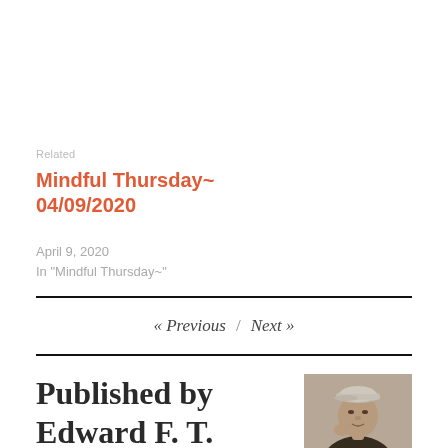Related
Mindful Thursday~ 04/09/2020
April 9, 2020
In "Mindful Thursday~"
« Previous / Next »
Published by Edward F. T.
[Figure (photo): Portrait photo of a man wearing a light-colored flat cap, looking thoughtful with hand near face]